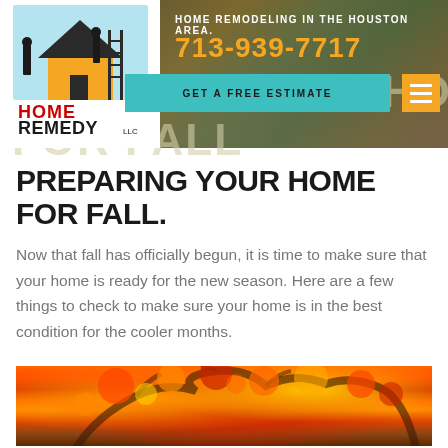[Figure (screenshot): Website header with Home Remedy LLC logo, background autumn photo, phone number 713-939-7717, 'Get a Free Estimate' teal button, golden hamburger menu icon, and partially visible background title text 'PREPARING YOUR HOME FOR FALL']
PREPARING YOUR HOME FOR FALL.
Now that fall has officially begun, it is time to make sure that your home is ready for the new season. Here are a few things to check to make sure your home is in the best condition for the cooler months.
[Figure (photo): Autumn tree with vibrant red and orange foliage]